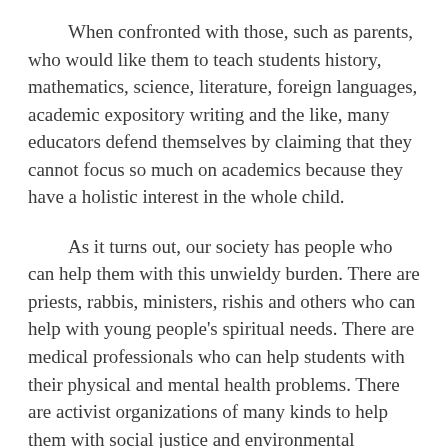When confronted with those, such as parents, who would like them to teach students history, mathematics, science, literature, foreign languages, academic expository writing and the like, many educators defend themselves by claiming that they cannot focus so much on academics because they have a holistic interest in the whole child.
As it turns out, our society has people who can help them with this unwieldy burden. There are priests, rabbis, ministers, rishis and others who can help with young people's spiritual needs. There are medical professionals who can help students with their physical and mental health problems. There are activist organizations of many kinds to help them with social justice and environmental concerns. And there are many other social organizations, not excluding families, who can relieve our educators of the need they feel to “address” the whole child.
Happily this allows educators to return to their original